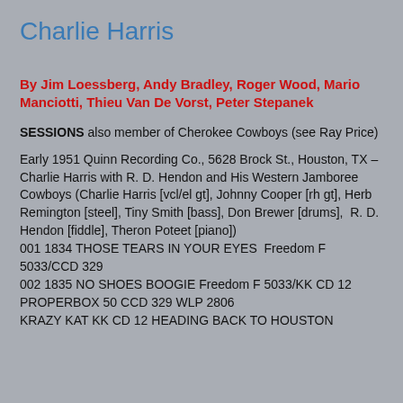Charlie Harris
By Jim Loessberg, Andy Bradley, Roger Wood, Mario Manciotti, Thieu Van De Vorst, Peter Stepanek
SESSIONS  also member of Cherokee Cowboys (see Ray Price)
Early 1951 Quinn Recording Co., 5628 Brock St., Houston, TX – Charlie Harris with R. D. Hendon and His Western Jamboree Cowboys (Charlie Harris [vcl/el gt], Johnny Cooper [rh gt], Herb Remington [steel], Tiny Smith [bass], Don Brewer [drums],  R. D. Hendon [fiddle], Theron Poteet [piano])
001 1834 THOSE TEARS IN YOUR EYES  Freedom F 5033/CCD 329
002 1835 NO SHOES BOOGIE Freedom F 5033/KK CD 12 PROPERBOX 50 CCD 329 WLP 2806
KRAZY KAT KK CD 12 HEADING BACK TO HOUSTON